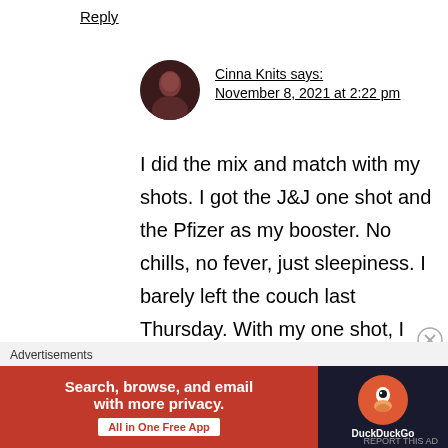Reply
Cinna Knits says:
November 8, 2021 at 2:22 pm
I did the mix and match with my shots. I got the J&J one shot and the Pfizer as my booster. No chills, no fever, just sleepiness. I barely left the couch last Thursday. With my one shot, I had a couple hours of being “out of it”/intense brain fog that came and went suddenly.
Advertisements
[Figure (other): DuckDuckGo advertisement banner: orange background on left with text 'Search, browse, and email with more privacy. All in One Free App', dark background on right with DuckDuckGo logo and duck icon.]